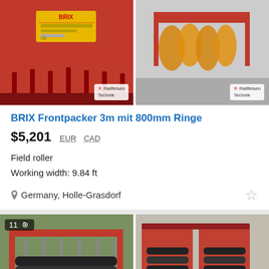[Figure (photo): Two photos of BRIX Frontpacker field roller equipment showing red machinery with BRIX branding and Raiffeisen Technik watermark]
BRIX Frontpacker 3m mit 800mm Ringe
$5,201  EUR  CAD
Field roller
Working width: 9.84 ft
Germany, Holle-Grasdorf
[Figure (photo): Two photos of red field rollers/packers with Raiffeisen Technik watermark, one showing 11 photos indicator]